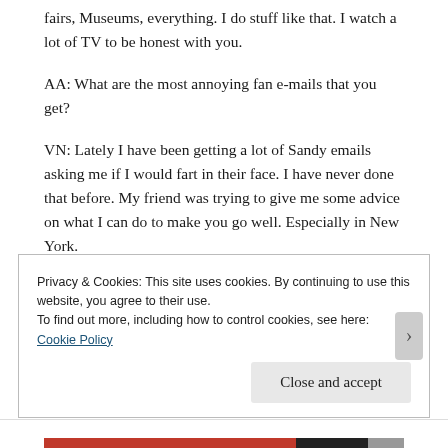fairs, Museums, everything. I do stuff like that. I watch a lot of TV to be honest with you.
AA: What are the most annoying fan e-mails that you get?
VN: Lately I have been getting a lot of Sandy emails asking me if I would fart in their face. I have never done that before. My friend was trying to give me some advice on what I can do to make you go well. Especially in New York.
Privacy & Cookies: This site uses cookies. By continuing to use this website, you agree to their use.
To find out more, including how to control cookies, see here: Cookie Policy
Close and accept